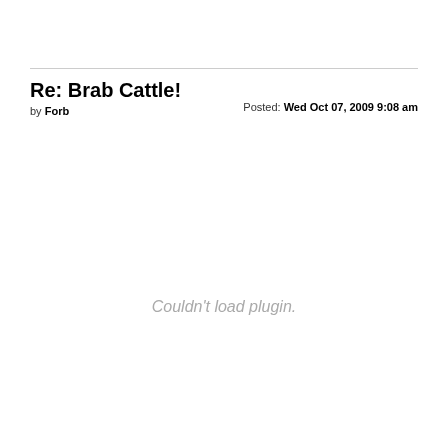Re: Brab Cattle!
by Forb
Posted: Wed Oct 07, 2009 9:08 am
Couldn't load plugin.